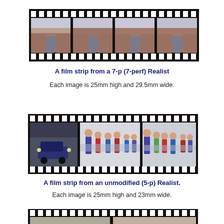[Figure (photo): Film strip from a 7-perf Realist camera showing 4 frames of a desert road scene with sprocket holes along top and bottom edges]
A film strip from a 7-p (7-perf) Realist
Each image is 25mm high and 29.5mm wide.
[Figure (photo): Film strip from an unmodified 5-perf Realist camera showing 3 frames of people running in a race/marathon, with sprocket holes along top and bottom edges]
A film strip from an unmodified (5-p) Realist.
Each image is 25mm high and 23mm wide.
[Figure (photo): Partial view of another film strip at the bottom of the page]